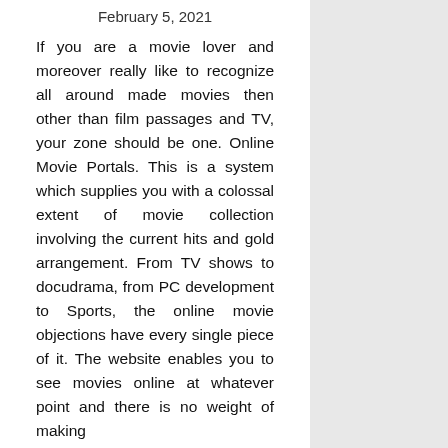February 5, 2021
If you are a movie lover and moreover really like to recognize all around made movies then other than film passages and TV, your zone should be one. Online Movie Portals. This is a system which supplies you with a colossal extent of movie collection involving the current hits and gold arrangement. From TV shows to docudrama, from PC development to Sports, the online movie objections have every single piece of it. The website enables you to see movies online at whatever point and there is no weight of making